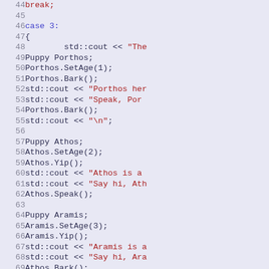[Figure (screenshot): C++ source code editor view showing lines 44-70, with line numbers on the left and code on the right. Background is light blue-purple. Code shows a case 3 block with Puppy objects Porthos, Athos, and Aramis being created and manipulated.]